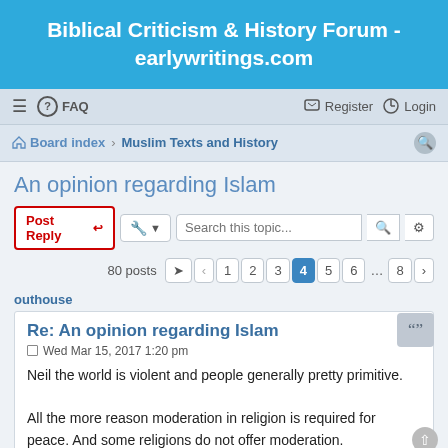Biblical Criticism & History Forum - earlywritings.com
≡  FAQ   Register  Login
Board index · Muslim Texts and History
An opinion regarding Islam
Post Reply  [tools]  Search this topic...  80 posts  1 2 3 4 5 6 ... 8
outhouse
Re: An opinion regarding Islam
Wed Mar 15, 2017 1:20 pm
Neil the world is violent and people generally pretty primitive.

All the more reason moderation in religion is required for peace. And some religions do not offer moderation.